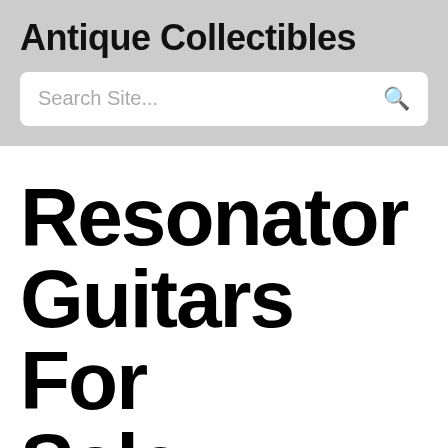Antique Collectibles
Search Site...
Resonator Guitars For Sale